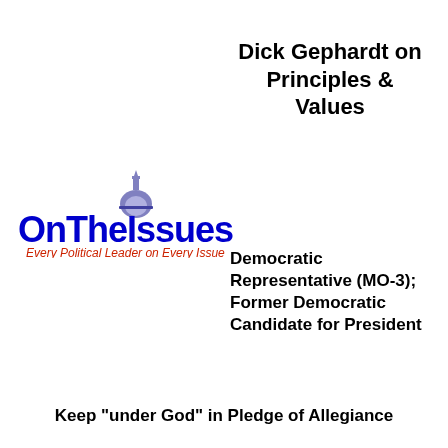Dick Gephardt on Principles & Values
[Figure (logo): OnTheIssues logo with dome icon and tagline 'Every Political Leader on Every Issue']
Democratic Representative (MO-3); Former Democratic Candidate for President
Keep "under God" in Pledge of Allegiance